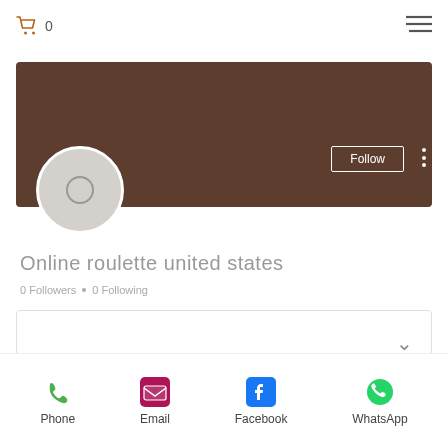[Figure (screenshot): Mobile app header with shopping cart icon showing 0 items and hamburger menu icon]
[Figure (illustration): Brown cover banner for a user profile page]
[Figure (illustration): Circular avatar placeholder with inner ring, Follow button with white border, and three-dot more menu]
Online roulette united states
0 Followers • 0 Following
[Figure (infographic): Info/bio expandable box with chevron down arrow]
[Figure (infographic): Contact bar with Phone, Email, Facebook, WhatsApp icons and labels]